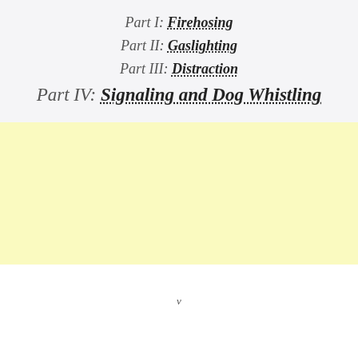Part I: Firehosing
Part II: Gaslighting
Part III: Distraction
Part IV: Signaling and Dog Whistling
[Figure (other): Yellow/cream colored rectangular block, likely a placeholder for an image or chart]
v